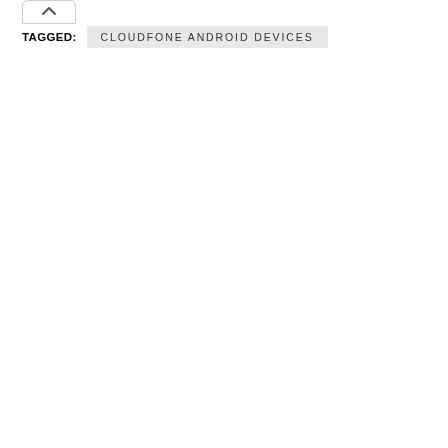TAGGED: CLOUDFONE ANDROID DEVICES